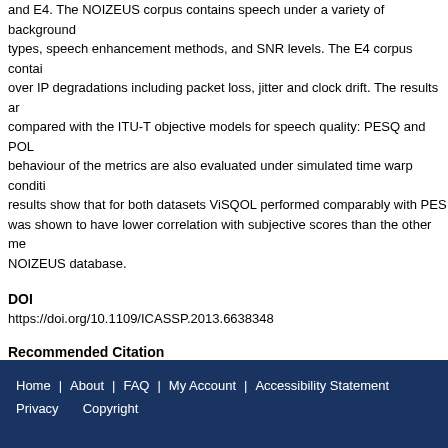and E4. The NOIZEUS corpus contains speech under a variety of background noise types, speech enhancement methods, and SNR levels. The E4 corpus contains over IP degradations including packet loss, jitter and clock drift. The results are compared with the ITU-T objective models for speech quality: PESQ and POLQA. behaviour of the metrics are also evaluated under simulated time warp conditions. results show that for both datasets ViSQOL performed comparably with PESQ was shown to have lower correlation with subjective scores than the other metrics NOIZEUS database.
DOI
https://doi.org/10.1109/ICASSP.2013.6638348
Recommended Citation
Hines, A. et al. (2013). Robustness of speech quality metrics to background noise and degradations: Comparing ViSQOL, PESQ and POLQA. 2013 IEEE International Conference on Acoustics, Speech and Signal Processing, 26-31 May 2013, Vancouver, BC, Canada. doi:10.1109/ICASSP.2013.6638348
Home | About | FAQ | My Account | Accessibility Statement Privacy Copyright